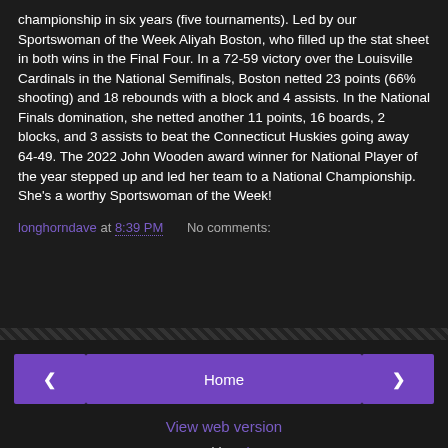championship in six years (five tournaments).  Led by our Sportswoman of the Week Aliyah Boston, who filled up the stat sheet in both wins in the Final Four.  In a 72-59 victory over the Louisville Cardinals in the National Semifinals, Boston netted 23 points (66% shooting) and 18 rebounds with a block and 4 assists.  In the National Finals domination, she netted another 11 points, 16 boards, 2 blocks, and 3 assists to beat the Connecticut Huskies going away 64-49.  The 2022 John Wooden award winner for National Player of the year stepped up and led her team to a National Championship.  She's a worthy Sportswoman of the Week!
longhorndave at 8:39 PM   No comments:
Home | View web version | Powered by Blogger.